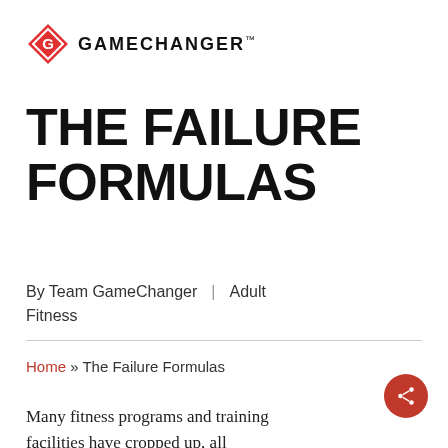[Figure (logo): GameChanger logo: red diamond shape with G letter inside, followed by GAMECHANGER brand name in bold uppercase]
THE FAILURE FORMULAS
By Team GameChanger  |  Adult Fitness
Home » The Failure Formulas
Many fitness programs and training facilities have cropped up, all